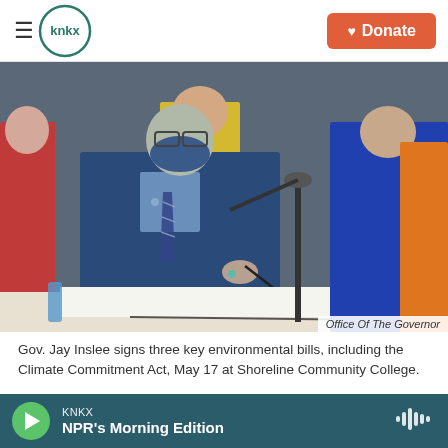KNKX | Donate
[Figure (photo): Gov. Jay Inslee wearing a blue mask and suit, signing documents at a table with a microphone in front of him, surrounded by other officials including one in a bright blue blazer and another in an orange safety vest]
Office Of The Governor
Gov. Jay Inslee signs three key environmental bills, including the Climate Commitment Act, May 17 at Shoreline Community College.
Anger lingers among tribal leaders in Washington
KNKX NPR's Morning Edition